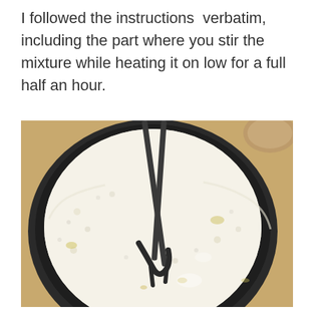I followed the instructions verbatim, including the part where you stir the mixture while heating it on low for a full half an hour.
[Figure (photo): Overhead photo of a dark round pan filled with a white frothy milk mixture being stirred with metal tongs. The pan sits on a wooden surface, and a glass container is partially visible in the top right corner.]